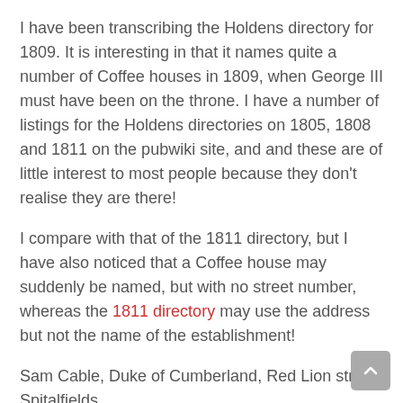I have been transcribing the Holdens directory for 1809. It is interesting in that it names quite a number of Coffee houses in 1809, when George III must have been on the throne. I have a number of listings for the Holdens directories on 1805, 1808 and 1811 on the pubwiki site, and and these are of little interest to most people because they don't realise they are there!
I compare with that of the 1811 directory, but I have also noticed that a Coffee house may suddenly be named, but with no street number, whereas the 1811 directory may use the address but not the name of the establishment!
Sam Cable, Duke of Cumberland, Red Lion street, Spitalfields
William Cable, Old Kings Head, Limehouse corner
Cades & Stevens, wine & brandy merchants, Garlick hill
M Caffrey, Dover Castle, Narrow wall, Lambeth